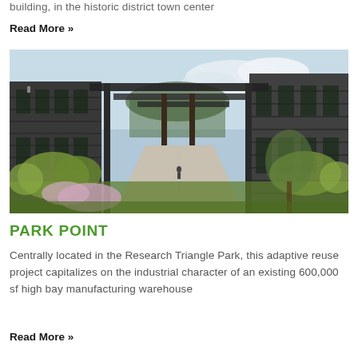building, in the historic district town center
Read More »
[Figure (photo): Exterior walkway of Park Point development showing modern dark industrial buildings with pergola overhead structure, lush landscaping with ornamental grasses and flowering plants along a concrete pathway, person visible in background under pergola.]
PARK POINT
Centrally located in the Research Triangle Park, this adaptive reuse project capitalizes on the industrial character of an existing 600,000 sf high bay manufacturing warehouse
Read More »